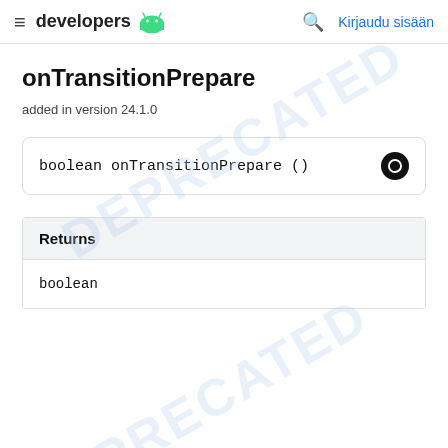developers | Kirjaudu sisään
onTransitionPrepare
added in version 24.1.0
| Returns |  |
| --- | --- |
| boolean |  |